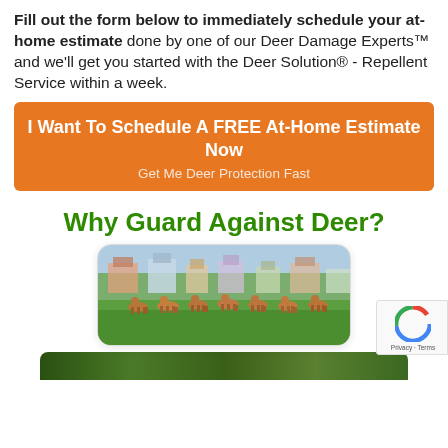Fill out the form below to immediately schedule your at-home estimate done by one of our Deer Damage Experts™ and we'll get you started with the Deer Solution® - Repellent Service within a week.
[Figure (other): Orange CTA button with text 'I Want To Schedule A FREE At-Home Estimate Now' and subtitle 'Get Me Deer Protection Fast']
Why Guard Against Deer?
[Figure (photo): A herd of deer running across a green field with houses visible in the background]